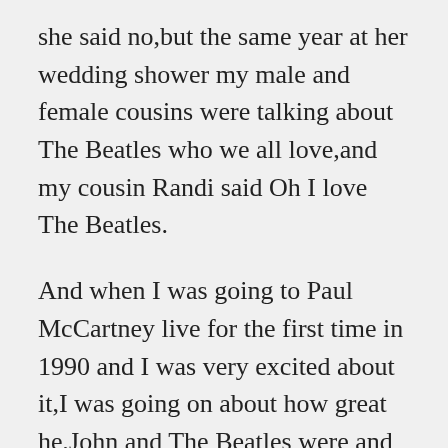she said no,but the same year at her wedding shower my male and female cousins were talking about The Beatles who we all love,and my cousin Randi said Oh I love The Beatles.
And when I was going to Paul McCartney live for the first time in 1990 and I was very excited about it,I was going on about how great he,John and The Beatles were and she said OK,I said you said you love The Beatles too and she said hey bottom line they were geniuses!